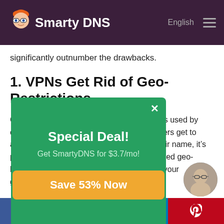SmartyDNS — English
significantly outnumber the drawbacks.
1. VPNs Get Rid of Geo-Restrictions
Geo-restrictions are content control methods used by content providers to decide which online users get to access their content. Due to the “geo” in their name, it’s pretty obvious that geo-restrictions (also called geo-blocks) restrict access to content based on your geographical location.
[Figure (infographic): Green popup modal with white X close button, title 'Special Deal!', subtitle 'Get SmartyDNS for $3.7/mo!', and an orange button reading 'Save 53% Now']
f  (Twitter bird)  in  (Pinterest)